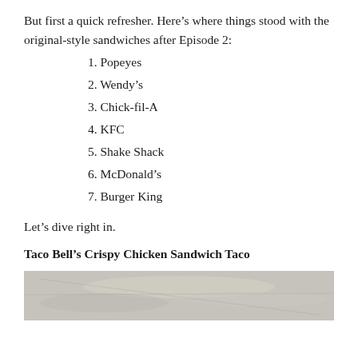But first a quick refresher. Here’s where things stood with the original-style sandwiches after Episode 2:
1. Popeyes
2. Wendy’s
3. Chick-fil-A
4. KFC
5. Shake Shack
6. McDonald’s
7. Burger King
Let’s dive right in.
Taco Bell’s Crispy Chicken Sandwich Taco
[Figure (photo): Partial photo of a Taco Bell Crispy Chicken Sandwich Taco, cropped at the bottom of the page]